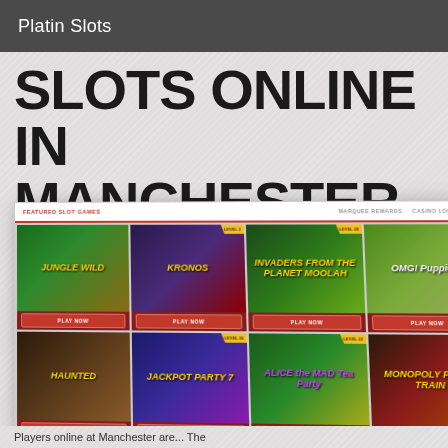Platin Slots
SLOTS ONLINE IN MANCHESTER
[Figure (screenshot): Screenshot of an online casino website showing featured slot games including Jungle Wild, Kronos, Invaders from the Planet Moolah, OMG Puppies, Haunted, Jackpot Party, Alice the Mad Tea Party, and Monopoly Party Train, each with a PLAY NOW button.]
Players online at Manchester are...